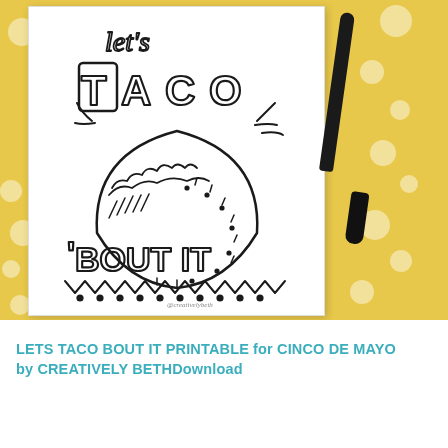[Figure (photo): Photo of a 'Let's Taco Bout It' coloring page printable on a yellow polka-dot background, with a black marker and cap resting beside it]
LETS TACO BOUT IT PRINTABLE for CINCO DE MAYO by CREATIVELY BETHDownload